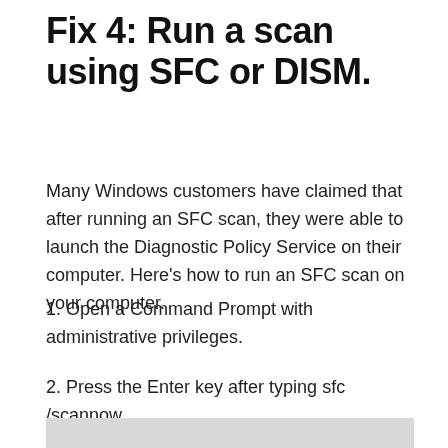Fix 4: Run a scan using SFC or DISM.
Many Windows customers have claimed that after running an SFC scan, they were able to launch the Diagnostic Policy Service on their computer. Here's how to run an SFC scan on your computer.
1. Open a Command Prompt with administrative privileges.
2. Press the Enter key after typing sfc /scannow.
[Figure (screenshot): Screenshot showing a command prompt window (partially visible at bottom of page)]